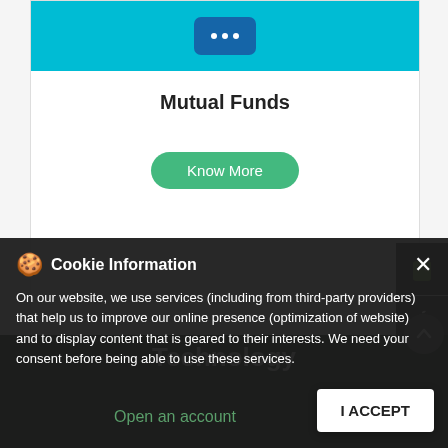[Figure (screenshot): Website card showing teal header with dark blue card element with dots, Mutual Funds title, and green Know More button]
Mutual Funds
[Figure (screenshot): Android app store button icon on dark grey background]
[Figure (screenshot): Apple app store button icon on dark grey background]
Technology
On our website, we use services (including from third-party providers) that help us to improve our online presence (optimization of website) and to display content that is geared to their interests. We need your consent before being able to use these services.
I ACCEPT
Open an account